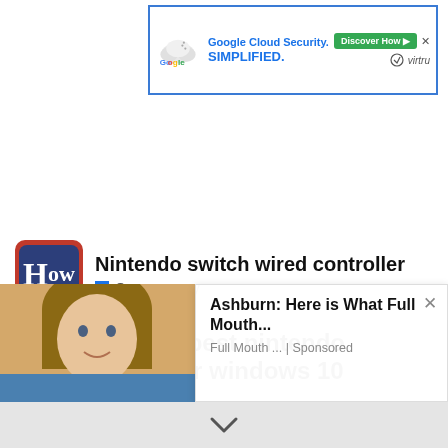[Figure (screenshot): Google Cloud Security advertisement banner with blue border, Google logo with cloud icon, text 'Google Cloud Security. SIMPLIFIED.' and a green 'Discover How' button with Virtru logo.]
[Figure (logo): HowCC website logo - dark blue rounded rectangle with white 'How' text in serif font, with red border.]
Nintendo switch wired controller
Query  query
What is the best nintendo controller for windows 10
The Switch Pro Controller (read the review) is one of the best controllers ever, and now you can bring that brilliance to your PC. As with the DualShock 4, this controller is easy to operate with a wired connection to a PC, but the wireless connection requires a few buses.
[Figure (photo): Advertisement overlay showing a woman's photo on the left and text 'Ashburn: Here is What Full Mouth...' with subtitle 'Full Mouth ... | Sponsored' on white background panel.]